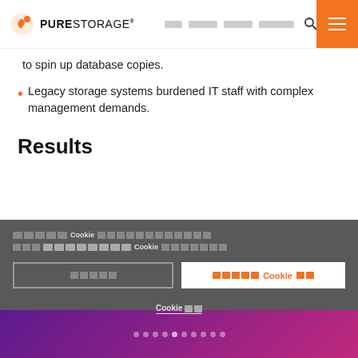PURE STORAGE navigation header
to spin up database copies.
Legacy storage systems burdened IT staff with complex management demands.
Results
Cookie consent overlay with redacted Thai text and cookie management options